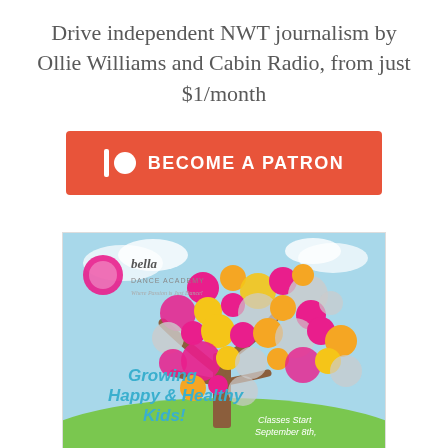Drive independent NWT journalism by Ollie Williams and Cabin Radio, from just $1/month
[Figure (infographic): Orange 'Become a Patron' button with Patreon icon (vertical bar and circle) on coral/red-orange background]
[Figure (illustration): Bella Dance Academy advertisement showing a colorful tree made of circle photos and dots, with text 'Growing Happy & Healthy Kids!' and 'Classes Start September 8th.' on a light blue sky background with green grass]